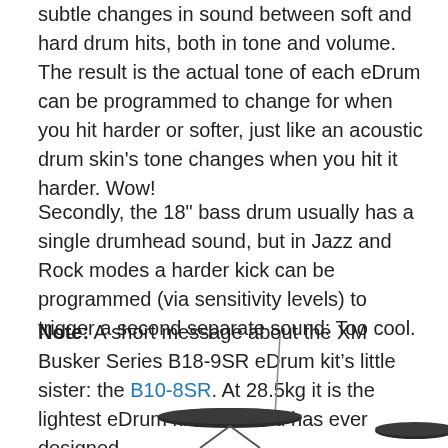subtle changes in sound between soft and hard drum hits, both in tone and volume. The result is the actual tone of each eDrum can be programmed to change for when you hit harder or softer, just like an acoustic drum skin's tone changes when you hit it harder. Wow!
Secondly, the 18" bass drum usually has a single drumhead sound, but in Jazz and Rock modes a harder kick can be programmed (via sensitivity levels) to trigger a second separate sound: Too cool.
Note: A short message about the XM Busker Series B18-9SR eDrum kit's little sister: the B10-8SR. At 28.5kg it is the lightest eDrum kit XM World has ever designed.
[Figure (photo): Partial view of an electronic drum kit (cymbal and drum pad) visible at the bottom of the page]